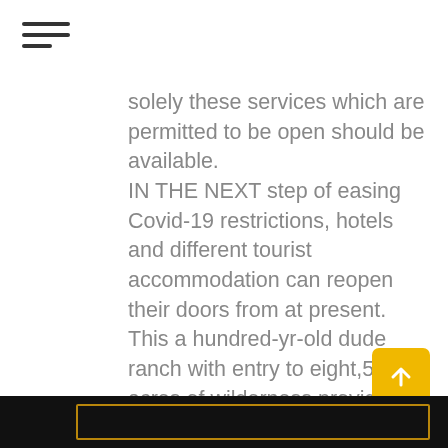[Figure (other): Hamburger menu icon with three horizontal lines]
solely these services which are permitted to be open should be available. IN THE NEXT step of easing Covid-19 restrictions, hotels and different tourist accommodation can reopen their doors from at present. This a hundred-yr-old dude ranch with entry to eight,500 acres of wilderness provides seemingly
... READ MORE
[Figure (other): Yellow scroll-to-top button with upward arrow icon]
[Figure (other): Dark/black footer bar with golden/amber border rectangle]